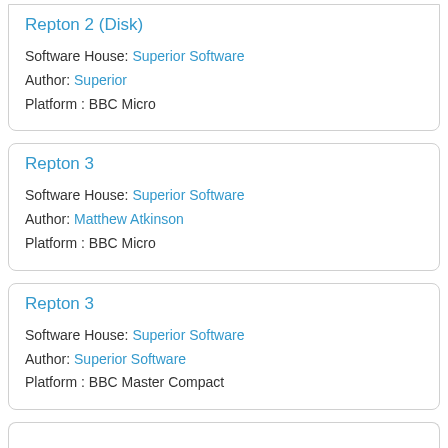Repton 2 (Disk)
Software House: Superior Software
Author: Superior
Platform : BBC Micro
Repton 3
Software House: Superior Software
Author: Matthew Atkinson
Platform : BBC Micro
Repton 3
Software House: Superior Software
Author: Superior Software
Platform : BBC Master Compact